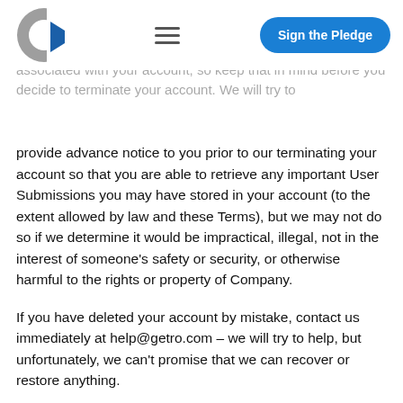Company has the sole right to decide whether you are in violation of any of the restrictions set forth in these Terms. Action or termination may result in destruction of Content associated with your account, so keep that in mind before you decide to terminate your account. We will try to
provide advance notice to you prior to our terminating your account so that you are able to retrieve any important User Submissions you may have stored in your account (to the extent allowed by law and these Terms), but we may not do so if we determine it would be impractical, illegal, not in the interest of someone's safety or security, or otherwise harmful to the rights or property of Company.
If you have deleted your account by mistake, contact us immediately at help@getro.com – we will try to help, but unfortunately, we can't promise that we can recover or restore anything.
Provisions that, by their nature, should survive termination